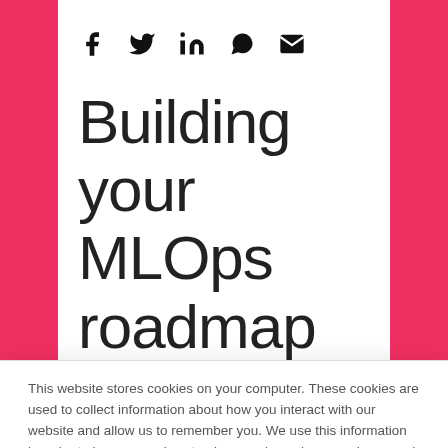[Figure (other): Social sharing icons: Facebook, Twitter, LinkedIn, WhatsApp, Email]
Building your MLOps roadmap
This website stores cookies on your computer. These cookies are used to collect information about how you interact with our website and allow us to remember you. We use this information in order to improve and customize your browsing experience and for analytics and metrics about our visitors both on this website and other media. To find out more about the cookies we use, see our Privacy Policy
If you decline, your information won't be tracked when you visit this website. A single cookie will be used in your browser to remember your preference not to be tracked.